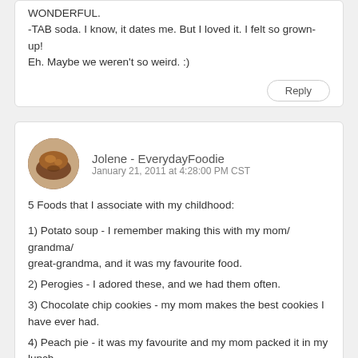WONDERFUL.
-TAB soda. I know, it dates me. But I loved it. I felt so grown-up! Eh. Maybe we weren't so weird. :)
Reply
Jolene - EverydayFoodie
January 21, 2011 at 4:28:00 PM CST
5 Foods that I associate with my childhood:
1) Potato soup - I remember making this with my mom/ grandma/ great-grandma, and it was my favourite food.
2) Perogies - I adored these, and we had them often.
3) Chocolate chip cookies - my mom makes the best cookies I have ever had.
4) Peach pie - it was my favourite and my mom packed it in my lunch.
5) Macintosh Toffee - I would buy this, freeze it, then break it up in to chunks and eat it. It was a favourite treat.
Reply